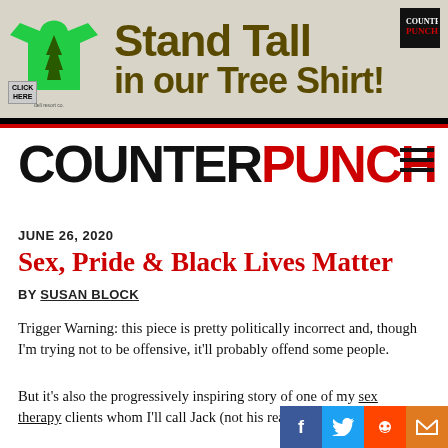[Figure (illustration): Advertisement banner for CounterPunch tree shirt. Green t-shirt with tree graphic on left, bold dark olive text 'Stand Tall in our Tree Shirt!' on grey background, CounterPunch logo top right, 'CLICK HERE' button bottom left.]
COUNTERPUNCH
JUNE 26, 2020
Sex, Pride & Black Lives Matter
BY SUSAN BLOCK
Trigger Warning: this piece is pretty politically incorrect and, though I'm trying not to be offensive, it'll probably offend some people.
But it's also the progressively inspiring story of one of my sex therapy clients whom I'll call Jack (not his real name, of course).